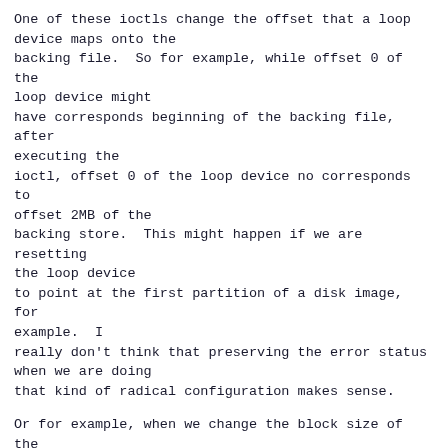One of these ioctls change the offset that a loop device maps onto the backing file.  So for example, while offset 0 of the loop device might have corresponds beginning of the backing file, after executing the ioctl, offset 0 of the loop device no corresponds to offset 2MB of the backing store.  This might happen if we are resetting the loop device to point at the first partition of a disk image, for example.  I really don't think that preserving the error status when we are doing that kind of radical configuration makes sense.
Or for example, when we change the block size of the loop device; if the underlying backing store is an IBM Mainframe DASD with a 2k block size, the reason why the error was signalled was because there was an attempt to write a 1k block onto a 2k block device.  So again, resetting the error status of the loop device is the right thing to do.
The final thing that's worth perhaps exploring is